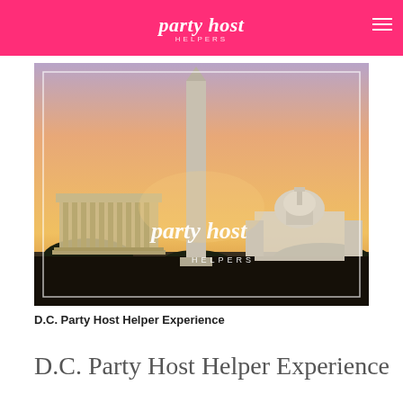party host HELPERS
[Figure (photo): Washington D.C. skyline at sunset showing the Washington Monument in the center, Lincoln Memorial on the left, and the U.S. Capitol dome on the right, with a dramatic orange and purple sky. The Party Host Helpers logo is overlaid in white script in the lower center of the image.]
D.C. Party Host Helper Experience
D.C. Party Host Helper Experience